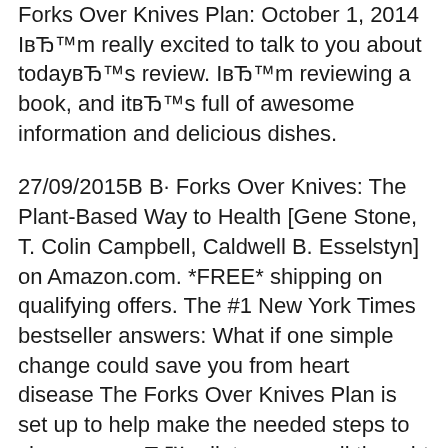Forks Over Knives Plan: October 1, 2014 IвЂ™m really excited to talk to you about todayвЂ™s review. IвЂ™m reviewing a book, and itвЂ™s full of awesome information and delicious dishes.
27/09/2015В В· Forks Over Knives: The Plant-Based Way to Health [Gene Stone, T. Colin Campbell, Caldwell B. Esselstyn] on Amazon.com. *FREE* shipping on qualifying offers. The #1 New York Times bestseller answers: What if one simple change could save you from heart disease The Forks Over Knives Plan is set up to help make the needed steps to change oneвЂ™s diet over a well thought out and planned month.